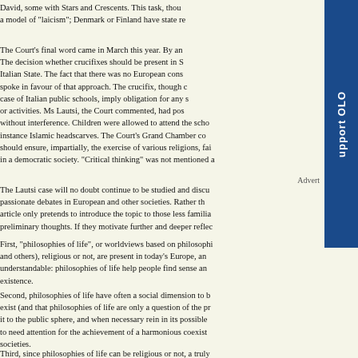David, some with Stars and Crescents. This task, tho... a model of "laicism"; Denmark or Finland have state re...
The Court's final word came in March this year. By an... The decision whether crucifixes should be present in S... Italian State. The fact that there was no European cons... spoke in favour of that approach. The crucifix, though c... case of Italian public schools, imply obligation for any s... or activities. Ms Lautsi, the Court commented, had pos... without interference. Children were allowed to attend the scho... instance Islamic headscarves. The Court's Grand Chamber co... should ensure, impartially, the exercise of various religions, fai... in a democratic society. "Critical thinking" was not mentioned a...
Advert
The Lautsi case will no doubt continue to be studied and discu... passionate debates in European and other societies. Rather th... article only pretends to introduce the topic to those less familia... preliminary thoughts. If they motivate further and deeper reflec...
First, "philosophies of life", or worldviews based on philosophi... and others), religious or not, are present in today's Europe, an... understandable: philosophies of life help people find sense an... existence.
Second, philosophies of life have often a social dimension to b... exist (and that philosophies of life are only a question of the pr... it to the public sphere, and when necessary rein in its possible... to need attention for the achievement of a harmonious coexist... societies.
Third, since philosophies of life can be religious or not, a truly...